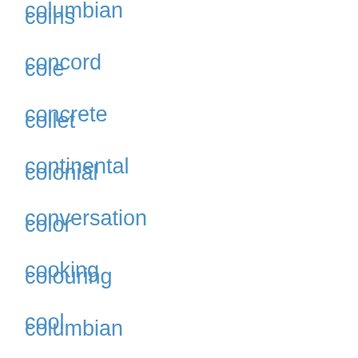coins
cole
collet
colonial
color
colouring
columbian
concord
concrete
continental
conversation
cooking
cool
coppia
craig
cranberry
creative